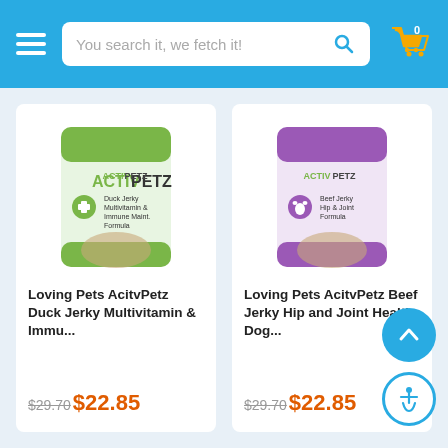[Figure (screenshot): Blue header bar with hamburger menu, search bar reading 'You search it, we fetch it!', search icon, and shopping cart icon with badge showing 0]
[Figure (photo): ActivPetz Duck Jerky Multivitamin & Immune Maintenance Formula product bag with green packaging]
Loving Pets AcitvPetz Duck Jerky Multivitamin & Immu...
$29.70 $22.85
[Figure (photo): ActivPetz Beef Jerky Hip & Joint Formula product bag with purple packaging]
Loving Pets AcitvPetz Beef Jerky Hip and Joint Health Dog...
$29.70 $22.85